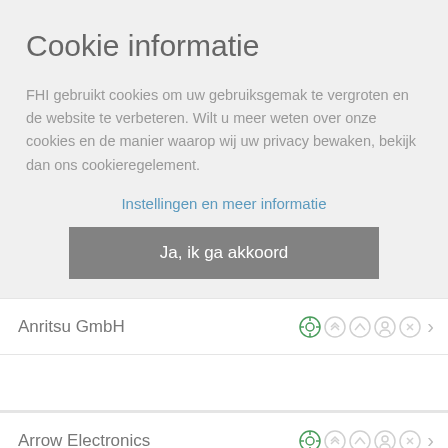Cookie informatie
FHI gebruikt cookies om uw gebruiksgemak te vergroten en de website te verbeteren. Wilt u meer weten over onze cookies en de manier waarop wij uw privacy bewaken, bekijk dan ons cookieregelement.
Instellingen en meer informatie
Ja, ik ga akkoord
Anritsu GmbH
AR Benelux
Arrow Electronics
Batenburg Applied Technologies
Betronic